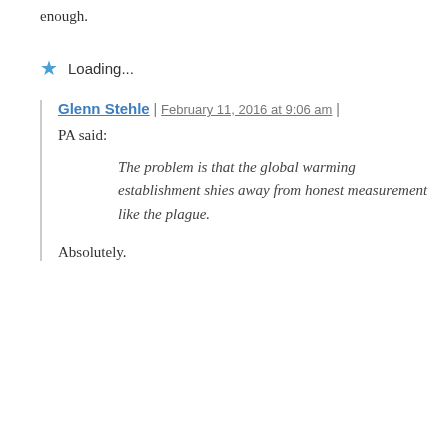enough.
Loading...
Glenn Stehle | February 11, 2016 at 9:06 am |
PA said:
The problem is that the global warming establishment shies away from honest measurement like the plague.
Absolutely.